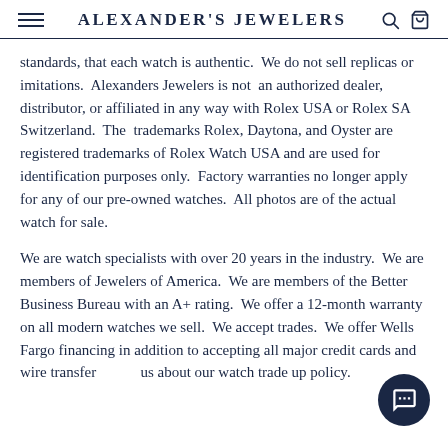Alexander's Jewelers
standards, that each watch is authentic.  We do not sell replicas or imitations.  Alexanders Jewelers is not  an authorized dealer, distributor, or affiliated in any way with Rolex USA or Rolex SA Switzerland.  The  trademarks Rolex, Daytona, and Oyster are registered trademarks of Rolex Watch USA and are used for identification purposes only.  Factory warranties no longer apply for any of our pre-owned watches.  All photos are of the actual watch for sale.
We are watch specialists with over 20 years in the industry.  We are members of Jewelers of America.  We are members of the Better Business Bureau with an A+ rating.  We offer a 12-month warranty on all modern watches we sell.  We accept trades.  We offer Wells Fargo financing in addition to accepting all major credit cards and wire transfers.  Ask us about our watch trade up policy.